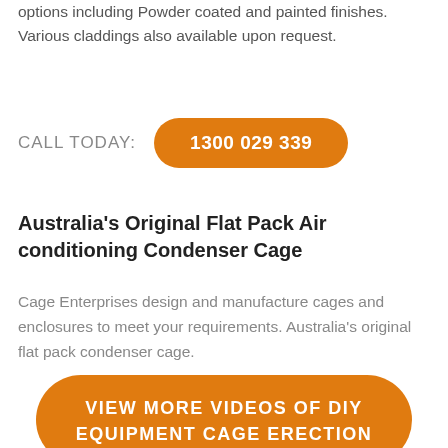options including Powder coated and painted finishes. Various claddings also available upon request.
CALL TODAY:  1300 029 339
Australia's Original Flat Pack Air conditioning Condenser Cage
Cage Enterprises design and manufacture cages and enclosures to meet your requirements. Australia's original flat pack condenser cage.
VIEW MORE VIDEOS OF DIY EQUIPMENT CAGE ERECTION